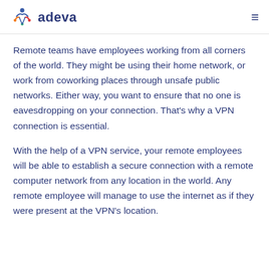adeva
Remote teams have employees working from all corners of the world. They might be using their home network, or work from coworking places through unsafe public networks. Either way, you want to ensure that no one is eavesdropping on your connection. That's why a VPN connection is essential.
With the help of a VPN service, your remote employees will be able to establish a secure connection with a remote computer network from any location in the world. Any remote employee will manage to use the internet as if they were present at the VPN's location.